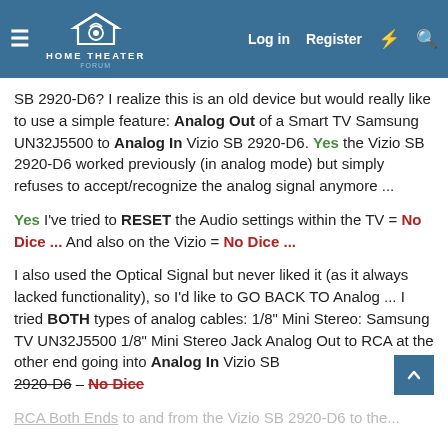HOME THEATER FORUM — Log in | Register
SB 2920-D6? I realize this is an old device but would really like to use a simple feature: Analog Out of a Smart TV Samsung UN32J5500 to Analog In Vizio SB 2920-D6. Yes the Vizio SB 2920-D6 worked previously (in analog mode) but simply refuses to accept/recognize the analog signal anymore ...
Yes I've tried to RESET the Audio settings within the TV = No Dice ... And also on the Vizio = No Dice ...
I also used the Optical Signal but never liked it (as it always lacked functionality), so I'd like to GO BACK TO Analog ... I tried BOTH types of analog cables: 1/8" Mini Stereo: Samsung TV UN32J5500 1/8" Mini Stereo Jack Analog Out to RCA at the other end going into Analog In Vizio SB 2920-D6 – No Dice
RCA Both Ends to and from the Vizio SB 2920-D6 to the...